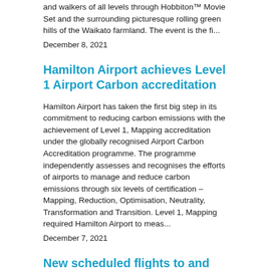and walkers of all levels through Hobbiton™ Movie Set and the surrounding picturesque rolling green hills of the Waikato farmland. The event is the fi...
December 8, 2021
Hamilton Airport achieves Level 1 Airport Carbon accreditation
Hamilton Airport has taken the first big step in its commitment to reducing carbon emissions with the achievement of Level 1, Mapping accreditation under the globally recognised Airport Carbon Accreditation programme. The programme independently assesses and recognises the efforts of airports to manage and reduce carbon emissions through six levels of certification – Mapping, Reduction, Optimisation, Neutrality, Transformation and Transition. Level 1, Mapping required Hamilton Airport to meas...
December 7, 2021
New scheduled flights to and from Hawkes Bay
Originair announces the commencement of services to Napier from Nelson, Hamilton and Palmerston North, from Friday 17 September. Originair's CEO, Robert Inglis, said the airline's schedule will offer Nelson and Hawkes Bay travellers, a direct service on Friday and Sunday